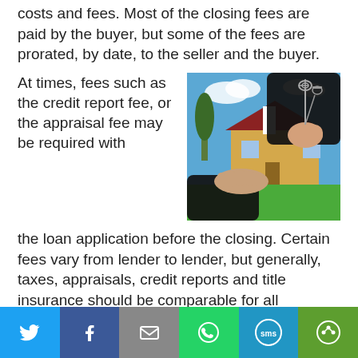costs and fees. Most of the closing fees are paid by the buyer, but some of the fees are prorated, by date, to the seller and the buyer.
[Figure (photo): A hand in a suit jacket holding keys over an open palm, with a yellow house and green lawn in the background.]
At times, fees such as the credit report fee, or the appraisal fee may be required with the loan application before the closing. Certain fees vary from lender to lender, but generally, taxes, appraisals, credit reports and title insurance should be comparable for all borrowers. Sometimes, your fees may be included in the
Twitter | Facebook | Email | WhatsApp | SMS | More